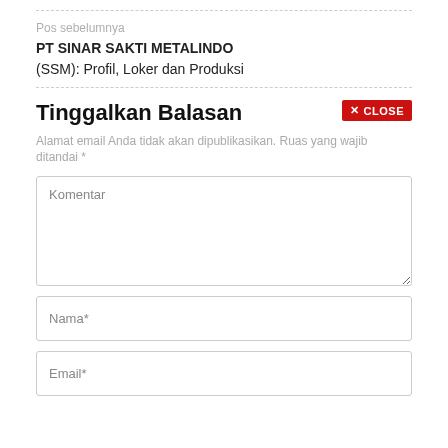Pos sebelumnya
PT SINAR SAKTI METALINDO
(SSM): Profil, Loker dan Produksi
Tinggalkan Balasan
Alamat email Anda tidak akan dipublikasikan. Ruas yang wajib ditandai *
Komentar
Nama*
Email*